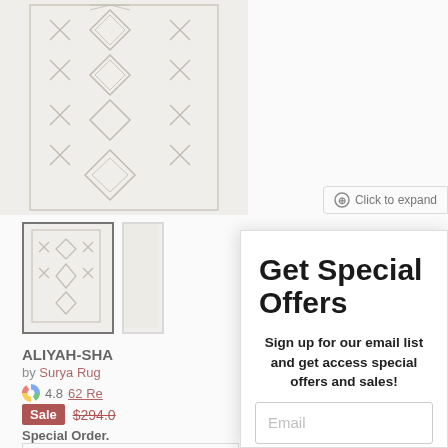[Figure (photo): Geometric patterned cream/white rug with diamond and X motifs, shown from above]
Click to expand
[Figure (photo): Small thumbnail of the same rug, selected with dark border]
ALIYAH-SHA
by Surya Rug
4.8  62 Re
Sale  $294.00
Special Order.
Size
Select Size
Get Special Offers
Sign up for our email list and get access special offers and sales!
Email
Continue